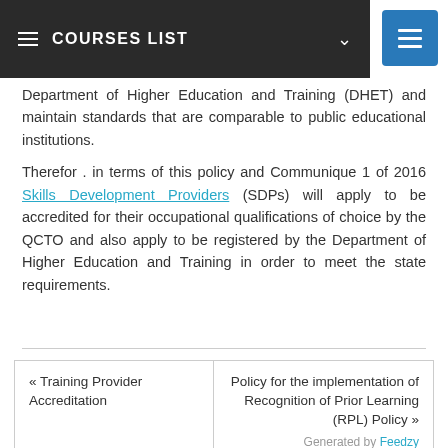≡ COURSES LIST ∨
Department of Higher Education and Training (DHET) and maintain standards that are comparable to public educational institutions.
Therefor . in terms of this policy and Communique 1 of 2016 Skills Development Providers (SDPs) will apply to be accredited for their occupational qualifications of choice by the QCTO and also apply to be registered by the Department of Higher Education and Training in order to meet the state requirements.
« Training Provider Accreditation
Policy for the implementation of Recognition of Prior Learning (RPL) Policy »
Generated by Feedzy